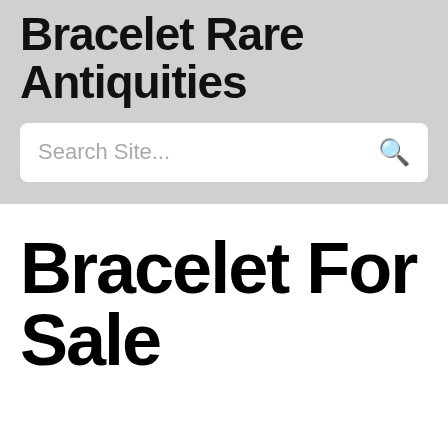Bracelet Rare Antiquities
[Figure (screenshot): Search box with placeholder text 'Search Site...' and a search icon on the right]
Bracelet For Sale